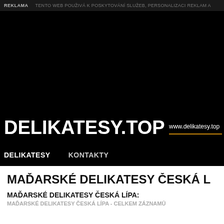REKLAMA   TENTO WEB POUŽÍVA K POSKYTOVÁNÍ SLUŽEB, PERSONALIZACI REKLAM A
[Figure (screenshot): Black header background area of website delikatesy.top]
DELIKATESY.TOP
www.delikatesy.top
DELIKATESY   KONTAKTY
MAĎARSKÉ DELIKATESY ČESKÁ L
MAĎARSKÉ DELIKATESY ČESKÁ LÍPA:
MAĎARSKÉ DELIKATESY ČESKÁ LÍPA - CELKEM ZÁZNAMŮ